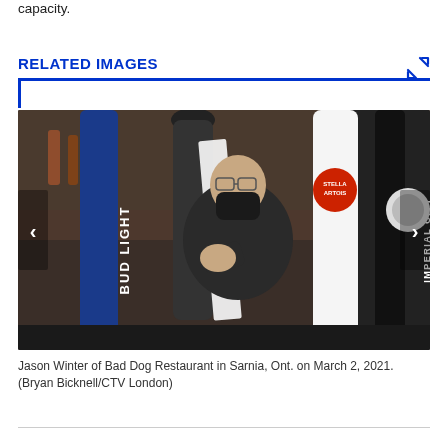capacity.
RELATED IMAGES
[Figure (photo): Jason Winter of Bad Dog Restaurant in Sarnia, Ont. on March 2, 2021. A masked bartender reaches forward among beer taps including Bud Light, Stella Artois, and Imperial City.]
Jason Winter of Bad Dog Restaurant in Sarnia, Ont. on March 2, 2021. (Bryan Bicknell/CTV London)